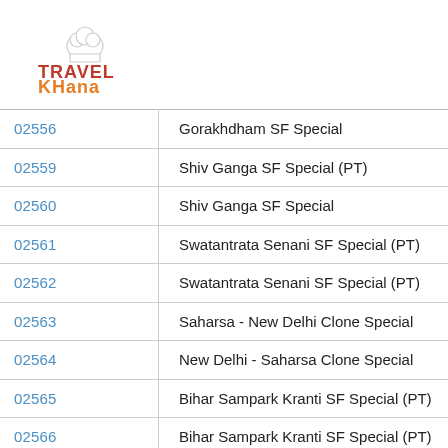[Figure (logo): TravelKhana logo with chef hat icon, 'TRAVEL' in red and 'KHana' in orange with dots underneath]
| 02556 | Gorakhdham SF Special |
| 02559 | Shiv Ganga SF Special (PT) |
| 02560 | Shiv Ganga SF Special |
| 02561 | Swatantrata Senani SF Special (PT) |
| 02562 | Swatantrata Senani SF Special (PT) |
| 02563 | Saharsa - New Delhi Clone Special |
| 02564 | New Delhi - Saharsa Clone Special |
| 02565 | Bihar Sampark Kranti SF Special (PT) |
| 02566 | Bihar Sampark Kranti SF Special (PT) |
| 02569 | Darbhanga - New Delhi Clone Special |